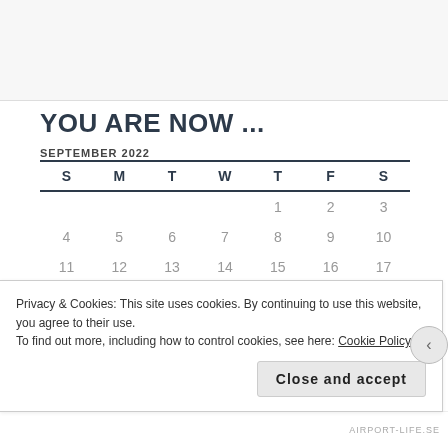YOU ARE NOW ...
SEPTEMBER 2022
| S | M | T | W | T | F | S |
| --- | --- | --- | --- | --- | --- | --- |
|  |  |  |  | 1 | 2 | 3 |
| 4 | 5 | 6 | 7 | 8 | 9 | 10 |
| 11 | 12 | 13 | 14 | 15 | 16 | 17 |
| 18 | 19 | 20 | 21 | 22 | 23 | 24 |
Privacy & Cookies: This site uses cookies. By continuing to use this website, you agree to their use.
To find out more, including how to control cookies, see here: Cookie Policy
Close and accept